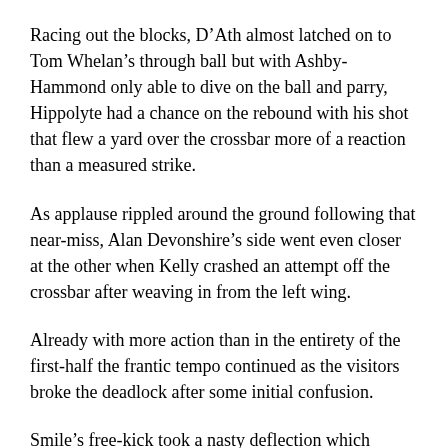Racing out the blocks, D'Ath almost latched on to Tom Whelan's through ball but with Ashby-Hammond only able to dive on the ball and parry, Hippolyte had a chance on the rebound with his shot that flew a yard over the crossbar more of a reaction than a measured strike.
As applause rippled around the ground following that near-miss, Alan Devonshire's side went even closer at the other when Kelly crashed an attempt off the crossbar after weaving in from the left wing.
Already with more action than in the entirety of the first-half the frantic tempo continued as the visitors broke the deadlock after some initial confusion.
Smile's free-kick took a nasty deflection which resulted in the ball nestling in the back of the net but despite the linesman flagging for offside, the goal was awarded after consultation between the officials with it eventually deemed Hippolyte was the unfortunate individual to have gotten the deciding touch.
As the home faithful debated the nature of the game's opening goal, the Berkshire outfit were immediately given a chance to